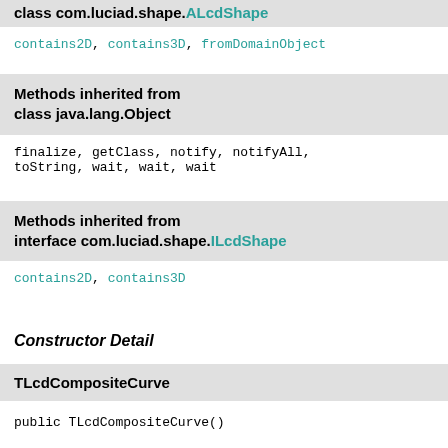class com.luciad.shape.ALcdShape
contains2D, contains3D, fromDomainObject
Methods inherited from class java.lang.Object
finalize, getClass, notify, notifyAll, toString, wait, wait, wait
Methods inherited from interface com.luciad.shape.ILcdShape
contains2D, contains3D
Constructor Detail
TLcdCompositeCurve
public TLcdCompositeCurve()